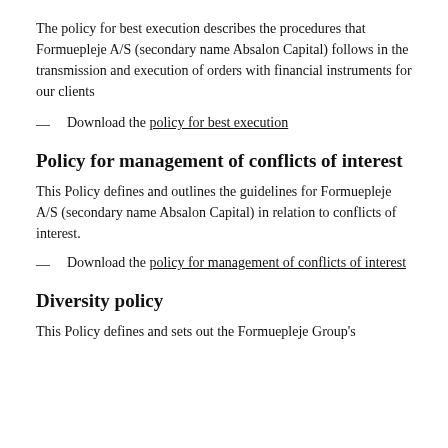The policy for best execution describes the procedures that Formuepleje A/S (secondary name Absalon Capital) follows in the transmission and execution of orders with financial instruments for our clients
Download the policy for best execution
Policy for management of conflicts of interest
This Policy defines and outlines the guidelines for Formuepleje A/S (secondary name Absalon Capital) in relation to conflicts of interest.
Download the policy for management of conflicts of interest
Diversity policy
This Policy defines and sets out the Formuepleje Group's